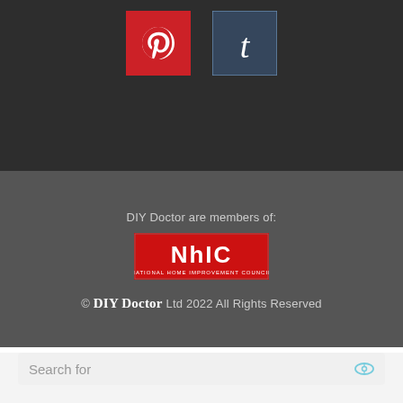[Figure (logo): Pinterest logo icon — red background with white Pinterest P symbol]
[Figure (logo): Tumblr logo icon — dark blue/grey background with white lowercase t symbol]
DIY Doctor are members of:
[Figure (logo): NHIC (National Home Improvement Council) logo — red background with white text NHIC]
© DIY Doctor Ltd 2022 All Rights Reserved
Search for
1  ROOFING COST PER SQUARE
2  WOOD BURNERS FOR SALE